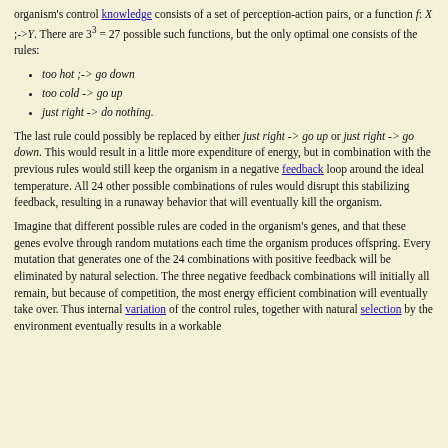organism's control knowledge consists of a set of perception-action pairs, or a function f: X ;->Y. There are 3^3 = 27 possible such functions, but the only optimal one consists of the rules:
too hot ;-> go down
too cold -> go up
just right -> do nothing.
The last rule could possibly be replaced by either just right -> go up or just right -> go down. This would result in a little more expenditure of energy, but in combination with the previous rules would still keep the organism in a negative feedback loop around the ideal temperature. All 24 other possible combinations of rules would disrupt this stabilizing feedback, resulting in a runaway behavior that will eventually kill the organism.
Imagine that different possible rules are coded in the organism's genes, and that these genes evolve through random mutations each time the organism produces offspring. Every mutation that generates one of the 24 combinations with positive feedback will be eliminated by natural selection. The three negative feedback combinations will initially all remain, but because of competition, the most energy efficient combination will eventually take over. Thus internal variation of the control rules, together with natural selection by the environment eventually results in a workable